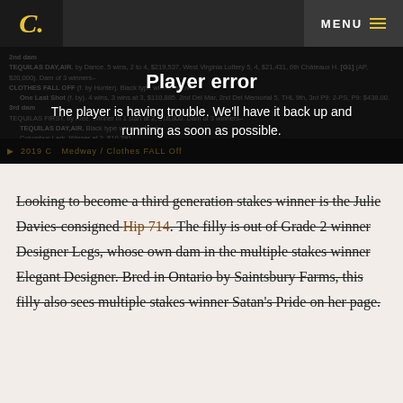C | MENU
[Figure (screenshot): Video player showing a player error overlay with text 'Player error' and 'The player is having trouble. We'll have it back up and running as soon as possible.' overlaid on a blurred pedigree text background.]
Looking to become a third generation stakes winner is the Julie Davies-consigned Hip 714. The filly is out of Grade 2 winner Designer Legs, whose own dam in the multiple stakes winner Elegant Designer. Bred in Ontario by Saintsbury Farms, this filly also sees multiple stakes winner Satan's Pride on her page.